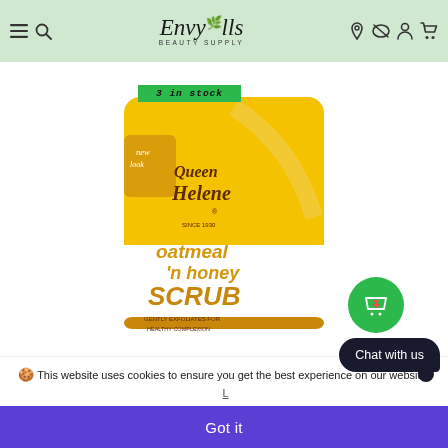EnvyUs Beauty Supply
[Figure (photo): Queen Helene Oatmeal 'N Honey Scrub product jar with yellow and white design, showing 'new look' label, with a green '3 in stock' badge overlaid at top]
🍪 This website uses cookies to ensure you get the best experience on our website.
Chat with us
Got it